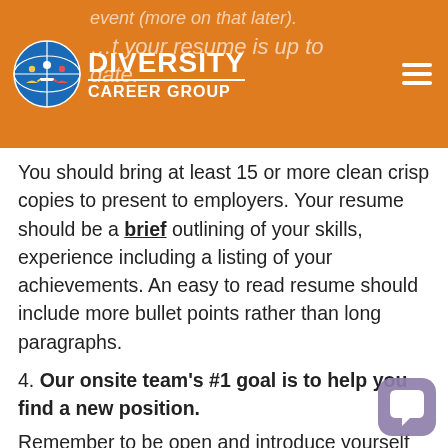Diversity Career Group
You should bring at least 15 or more clean crisp copies to present to employers. Your resume should be a brief outlining of your skills, experience including a listing of your achievements. An easy to read resume should include more bullet points rather than long paragraphs.
4. Our onsite team's #1 goal is to help you find a new position.
Remember to be open and introduce yourself to the Seattle Job Fair Team. They are there for you and very knowledgeable about the positions and companies recruiting at our career fairs. Most of our onsite staff members